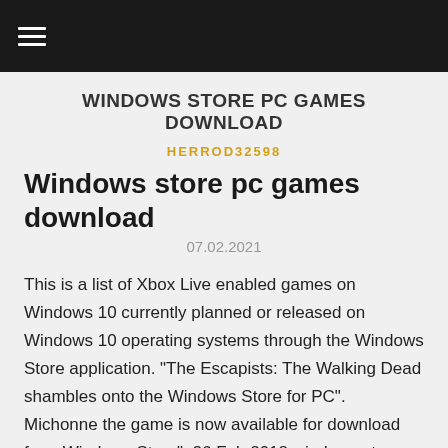≡
WINDOWS STORE PC GAMES DOWNLOAD
HERROD32598
Windows store pc games download
07.02.2021
This is a list of Xbox Live enabled games on Windows 10 currently planned or released on Windows 10 operating systems through the Windows Store application. "The Escapists: The Walking Dead shambles onto the Windows Store for PC". Michonne the game is now available for download from Windows Store". 26 Feb 2018 windows store games playable offline 10